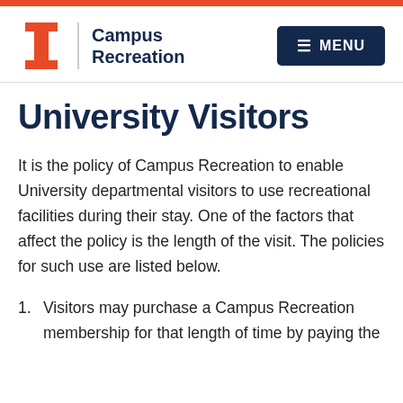Campus Recreation
University Visitors
It is the policy of Campus Recreation to enable University departmental visitors to use recreational facilities during their stay. One of the factors that affect the policy is the length of the visit. The policies for such use are listed below.
1. Visitors may purchase a Campus Recreation membership for that length of time by paying the